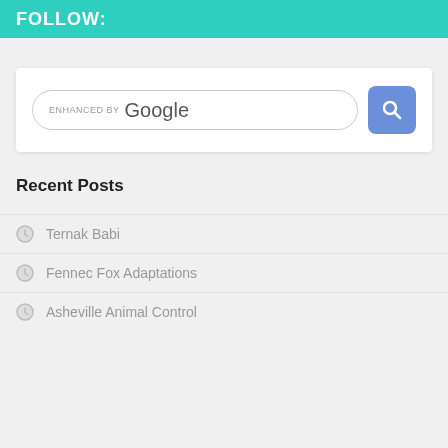FOLLOW:
[Figure (other): Google search bar with enhanced by Google label and blue search button with magnifying glass icon]
Recent Posts
Ternak Babi
Fennec Fox Adaptations
Asheville Animal Control